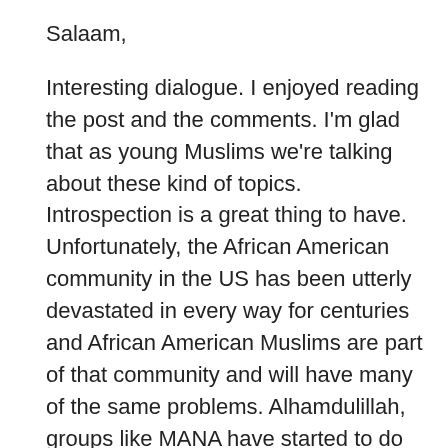Salaam,
Interesting dialogue. I enjoyed reading the post and the comments. I'm glad that as young Muslims we're talking about these kind of topics. Introspection is a great thing to have. Unfortunately, the African American community in the US has been utterly devastated in every way for centuries and African American Muslims are part of that community and will have many of the same problems. Alhamdulillah, groups like MANA have started to do something about it.
I have to say that one of the most tragic stereotypes of African American women is their disposition to have an attitude, which goes to the heart of their femininity. It would only make